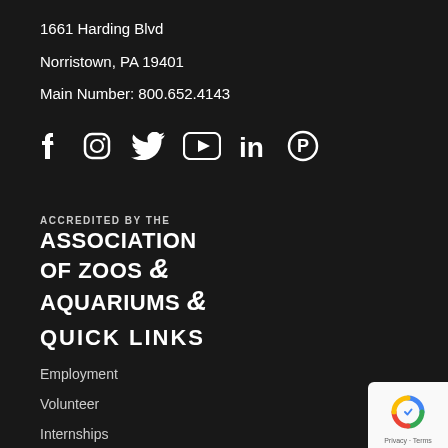1661 Harding Blvd
Norristown, PA 19401
Main Number: 800.652.4143
[Figure (other): Social media icons: Facebook, Instagram, Twitter, YouTube, LinkedIn, Pinterest]
[Figure (logo): Accredited by the Association of Zoos & Aquariums logo]
QUICK LINKS
Employment
Volunteer
Internships
Press Room